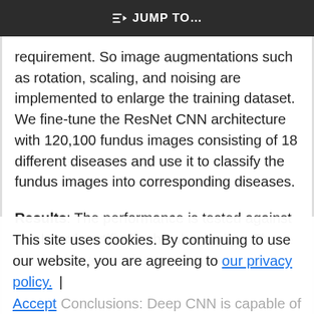JUMP TO...
requirement. So image augmentations such as rotation, scaling, and noising are implemented to enlarge the training dataset. We fine-tune the ResNet CNN architecture with 120,100 fundus images consisting of 18 different diseases and use it to classify the fundus images into corresponding diseases.
Results: The performance is tested against two board-certified ophthalmologists. The CNN achieves performance on par with the
This site uses cookies. By continuing to use our website, you are agreeing to our privacy policy. | Accept
Conclusions: Deep CNN is capable of